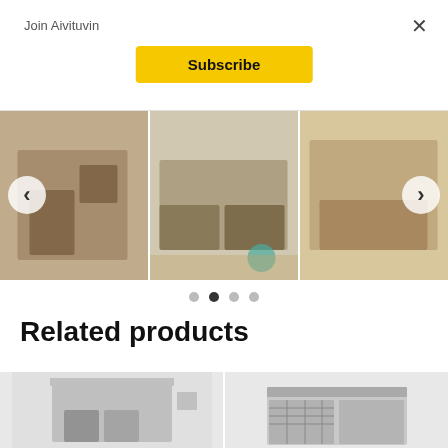Join Aivituvin
×
Subscribe
[Figure (photo): Carousel of three product photos showing wooden rabbit hutches/guinea pig cages in customer home settings. Left arrow and right arrow navigation visible. Four pagination dots below the carousel, second dot active.]
Related products
[Figure (photo): Two product thumbnail images of rabbit hutches at the bottom of the page, partially cropped.]